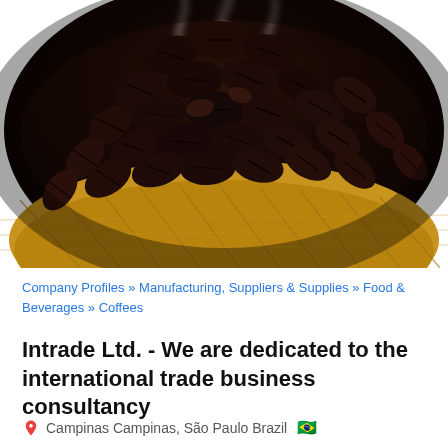[Figure (photo): Close-up photo of roasted coffee beans piled in an open burlap sack with steam rising, warm brown tones]
Company Profiles » Manufacturing, Suppliers & Supplies » Food & Beverages » Coffees
Intrade Ltd. - We are dedicated to the international trade business consultancy
Campinas Campinas, São Paulo Brazil 🇧🇷